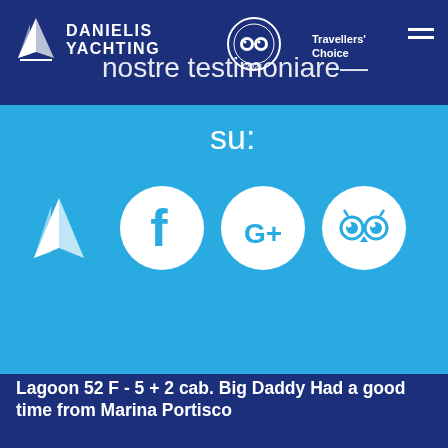[Figure (logo): Danielis Yachting logo with sailing boat icon and text]
[Figure (logo): TripAdvisor Travellers Choice 2021 badge]
nostre testimonianze
su:
[Figure (logo): Danielis Yachting icon (white sailing sail on light blue circle background)]
[Figure (logo): Facebook logo white F on blue circle]
[Figure (logo): Google+ logo white G+ on blue circle]
[Figure (logo): TripAdvisor owl logo on white circle]
Lagoon 52 F - 5 + 2 cab. Big Daddy Had a good time from Marina Portisco
Esperienza generale:
Great crew. Everything went smooth
We had a good time with the family. Captain and chef were very accommodating. One little comment is that I thought the...